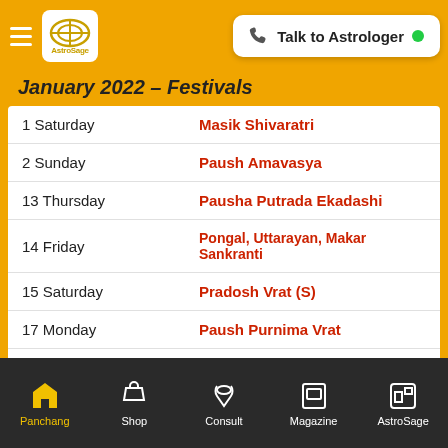AstroSage — Talk to Astrologer
January 2022 – Festivals
| Date | Festival |
| --- | --- |
| 1 Saturday | Masik Shivaratri |
| 2 Sunday | Paush Amavasya |
| 13 Thursday | Pausha Putrada Ekadashi |
| 14 Friday | Pongal, Uttarayan, Makar Sankranti |
| 15 Saturday | Pradosh Vrat (S) |
| 17 Monday | Paush Purnima Vrat |
| 21 Friday | Sankashti Chaturthi |
| 28 Friday | Shattila Ekadashi |
Panchang | Shop | Consult | Magazine | AstroSage